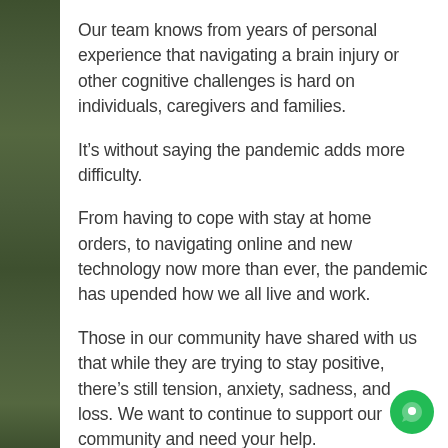Our team knows from years of personal experience that navigating a brain injury or other cognitive challenges is hard on individuals, caregivers and families.
It’s without saying the pandemic adds more difficulty.
From having to cope with stay at home orders, to navigating online and new technology now more than ever, the pandemic has upended how we all live and work.
Those in our community have shared with us that while they are trying to stay positive, there’s still tension, anxiety, sadness, and loss. We want to continue to support our community and need your help.